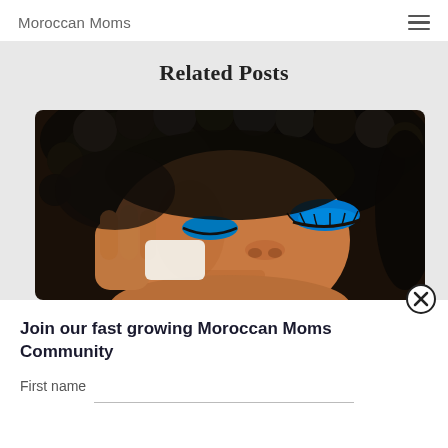Moroccan Moms
Related Posts
[Figure (photo): Close-up photo of a Black woman with curly hair and blue eyeshadow, eyes closed, touching her face with her hand]
Join our fast growing Moroccan Moms Community
First name